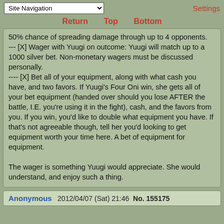Site Navigation | Settings
Return  Top  Bottom
50% chance of spreading damage through up to 4 opponents.
--- [X] Wager with Yuugi on outcome: Yuugi will match up to a 1000 silver bet. Non-monetary wagers must be discussed personally.
---- [X] Bet all of your equipment, along with what cash you have, and two favors. If Yuugi's Four Oni win, she gets all of your bet equipment (handed over should you lose AFTER the battle, I.E. you're using it in the fight), cash, and the favors from you. If you win, you'd like to double what equipment you have. If that's not agreeable though, tell her you'd looking to get equipment worth your time here. A bet of equipment for equipment.

The wager is something Yuugi would appreciate. She would understand, and enjoy such a thing.
Anonymous  2012/04/07 (Sat) 21:46  No. 155175